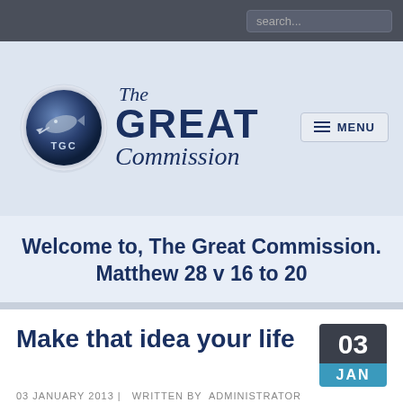[Figure (screenshot): Website screenshot of The Great Commission website with logo, navigation, and article]
Welcome to, The Great Commission. Matthew 28 v 16 to 20
Make that idea your life
03 JANUARY 2013 | WRITTEN BY ADMINISTRATOR
PRINT
EMAIL  38657 COMMENTS